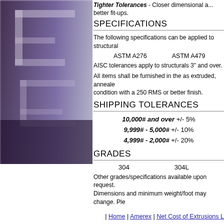[Figure (photo): Stainless steel structural shapes product photo with purple/gray gradient overlay showing extruded metal profiles]
Tighter Tolerances - Closer dimensional accuracy means better fit-ups.
SPECIFICATIONS
The following specifications can be applied to structurals
ASTM A276    ASTM A479
AISC tolerances apply to structurals 3" and over.
All items shall be furnished in the as extruded, annealed condition with a 250 RMS or better finish.
SHIPPING TOLERANCES
10,000# and over +/- 5%
9,999# - 5,000# +/- 10%
4,999# - 2,000# +/- 20%
GRADES
304    304L
Other grades/specifications available upon request. Dimensions and minimum weight/foot may change. Ple
| Home | Amerex | Net Cost of Extrusions L... Extruded... | Design Criteria to Consider | Structural Stai... Catalog | Tubular | Custom Shapes | Request ...